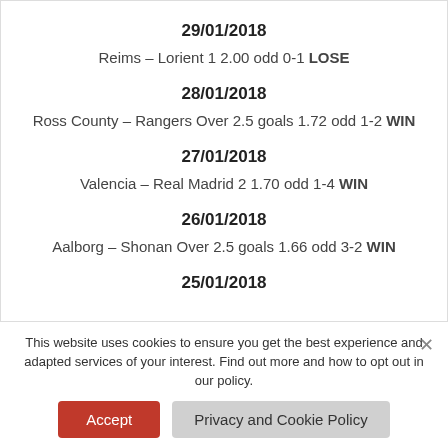29/01/2018
Reims – Lorient 1 2.00 odd 0-1 LOSE
28/01/2018
Ross County – Rangers Over 2.5 goals 1.72 odd 1-2 WIN
27/01/2018
Valencia – Real Madrid 2 1.70 odd 1-4 WIN
26/01/2018
Aalborg – Shonan Over 2.5 goals 1.66 odd 3-2 WIN
25/01/2018
This website uses cookies to ensure you get the best experience and adapted services of your interest. Find out more and how to opt out in our policy.
Accept
Privacy and Cookie Policy